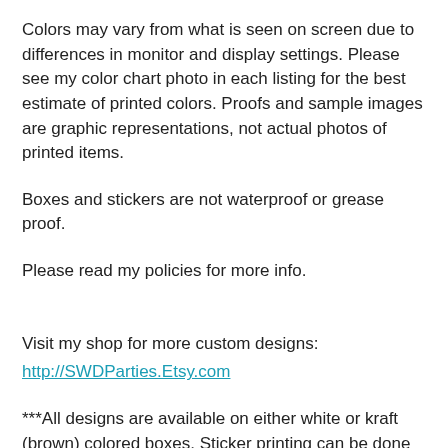Colors may vary from what is seen on screen due to differences in monitor and display settings. Please see my color chart photo in each listing for the best estimate of printed colors. Proofs and sample images are graphic representations, not actual photos of printed items.
Boxes and stickers are not waterproof or grease proof.
Please read my policies for more info.
Visit my shop for more custom designs:
http://SWDParties.Etsy.com
***All designs are available on either white or kraft (brown) colored boxes. Sticker printing can be done in any of the